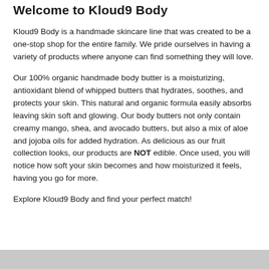Welcome to Kloud9 Body
Kloud9 Body is a handmade skincare line that was created to be a one-stop shop for the entire family. We pride ourselves in having a variety of products where anyone can find something they will love.
Our 100% organic handmade body butter is a moisturizing, antioxidant blend of whipped butters that hydrates, soothes, and protects your skin. This natural and organic formula easily absorbs leaving skin soft and glowing. Our body butters not only contain creamy mango, shea, and avocado butters, but also a mix of aloe and jojoba oils for added hydration. As delicious as our fruit collection looks, our products are NOT edible. Once used, you will notice how soft your skin becomes and how moisturized it feels, having you go for more.
Explore Kloud9 Body and find your perfect match!